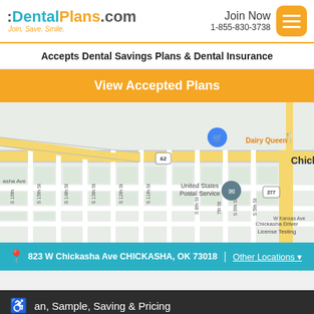[Figure (logo): DentalPlans.com logo with tagline 'Join. Save. Smile.']
Join Now
1-855-830-3738
Accepts Dental Savings Plans & Dental Insurance
View Accepted Plans
[Figure (map): Google Maps view of Chickasha, Oklahoma showing 823 W Chickasha Ave area with street grid, Dairy Queen, United States Postal Service, and Chickasha Driver License Testing landmarks]
823 W Chickasha Ave CHICKASHA, OK 73018 | Other Locations ▾
an, Sample, Saving & Pricing